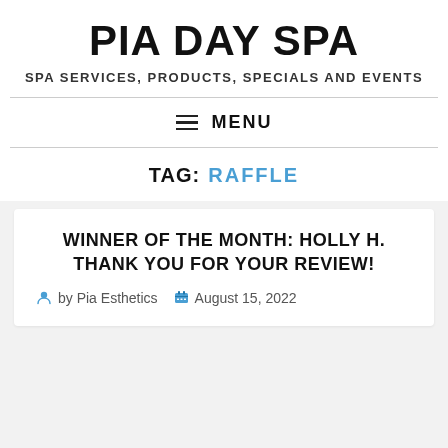PIA DAY SPA
SPA SERVICES, PRODUCTS, SPECIALS AND EVENTS
MENU
TAG: RAFFLE
WINNER OF THE MONTH: HOLLY H. THANK YOU FOR YOUR REVIEW!
by Pia Esthetics   August 15, 2022